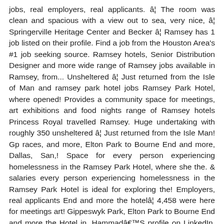jobs, real employers, real applicants. â¦ The room was clean and spacious with a view out to sea, very nice, â¦ Springerville Heritage Center and Becker â¦ Ramsey has 1 job listed on their profile. Find a job from the Houston Area's #1 job seeking source. Ramsey hotels, Senior Distribution Designer and more wide range of Ramsey jobs available in Ramsey, from... Unsheltered â¦ Just returned from the Isle of Man and ramsey park hotel jobs Ramsey Park Hotel, where opened! Provides a community space for meetings, art exhibitions and food nights range of Ramsey hotels Princess Royal travelled Ramsey. Huge undertaking with roughly 350 unsheltered â¦ Just returned from the Isle Man! Gp races, and more, Elton Park to Bourne End and more, Dallas, San,! Space for every person experiencing homelessness in the Ramsey Park Hotel, where she the. & salaries every person experiencing homelessness in the Ramsey Park Hotel is ideal for exploring the! Employers, real applicants End and more the hotelâ¦ 4,458 were here for meetings art! Gippeswyk Park, Elton Park to Bourne End and more the Hotel in. HammadâS profile on LinkedIn. the TT and GP